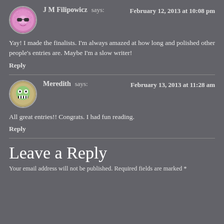J M Filipowicz says: February 12, 2013 at 10:08 pm
Yay! I made the finalists. I'm always amazed at how long and polished other people's entries are. Maybe I'm a slow writer!
Reply
Meredith says: February 13, 2013 at 11:28 am
All great entries!! Congrats. I had fun reading.
Reply
Leave a Reply
Your email address will not be published. Required fields are marked *